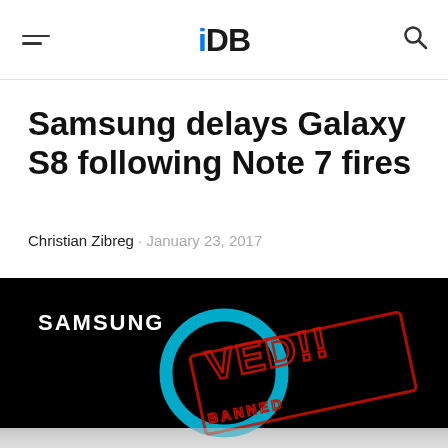iDB
Samsung delays Galaxy S8 following Note 7 fires
Christian Zibreg · January 23, 2017
[Figure (photo): Samsung logo on black background with a blue circle ring and a red 'BANNED!!' stamp overlay, related to Galaxy Note 7 fires story]